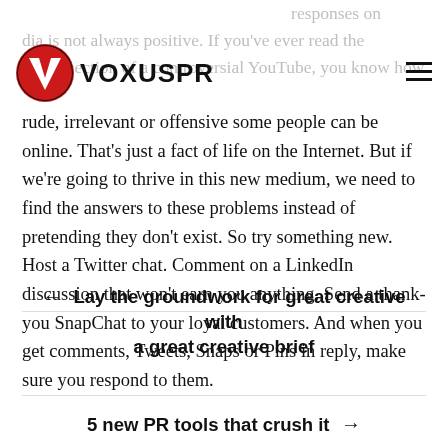responses on
dia is not always positive. If you've ever read the comments section of a controversial YouTube, you know how
[Figure (logo): Voxus PR logo: red circle with white V, bold text VOXUSPR]
rude, irrelevant or offensive some people can be online. That’s just a fact of life on the Internet. But if we’re going to thrive in this new medium, we need to find the answers to these problems instead of pretending they don’t exist. So try something new. Host a Twitter chat. Comment on a LinkedIn discussion that won’t earn you anything. Send a thank-you SnapChat to your loyal customers. And when you get comments, Tweets, Snaps or Pins in reply, make sure you respond to them.
←  Lay the groundwork for great creative with a great creative brief
5 new PR tools that crush it  →